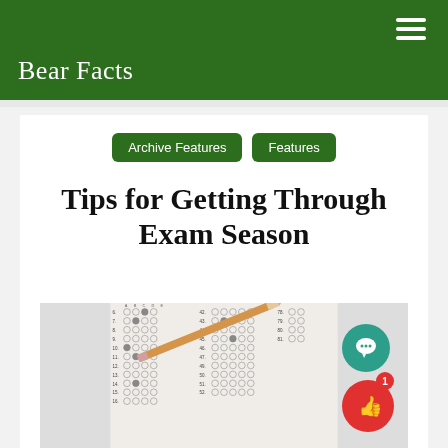Bear Facts
Archive Features | Features
Tips for Getting Through Exam Season
[Figure (photo): A scantron multiple choice answer sheet with a pencil resting on it, showing rows of bubbled answers labeled A through E for questions numbered in the single digits through 50s.]